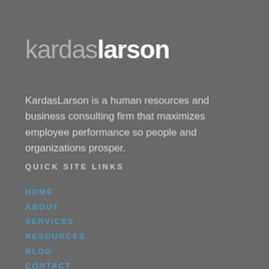kardaslarson
KardasLarson is a human resources and business consulting firm that maximizes employee performance so people and organizations prosper.
QUICK SITE LINKS
HOME
ABOUT
SERVICES
RESOURCES
BLOG
CONTACT